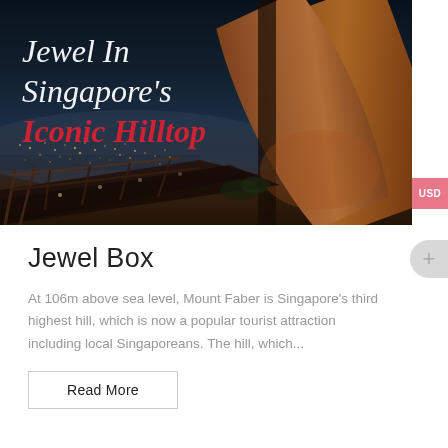[Figure (photo): Nighttime photo of Mount Faber / Jewel Box rooftop walkway in Singapore with wooden curved architectural structures lit with warm light, city lights visible in background at dusk/night. Overlaid text reads 'Jewel In Singapore's Iconic Hilltop' in white and red italic serif font.]
Jewel Box
At 106m above sea level, Mount Faber is Singapore's third highest hill, which is now a popular tourist attraction including local Singaporeans. The hill, which...
Read More